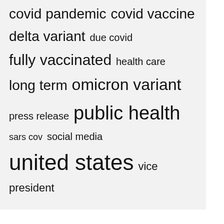[Figure (infographic): Tag cloud with COVID-19 related terms in varying font sizes: covid pandemic, covid vaccine, delta variant, due covid, fully vaccinated, health care, long term, omicron variant, press release, public health, sars cov, social media, united states, vice president]
Recent Posts
Property near Highway 70/100 sells for $3.4M | Development
Fakenham Active Week set to return with free activities